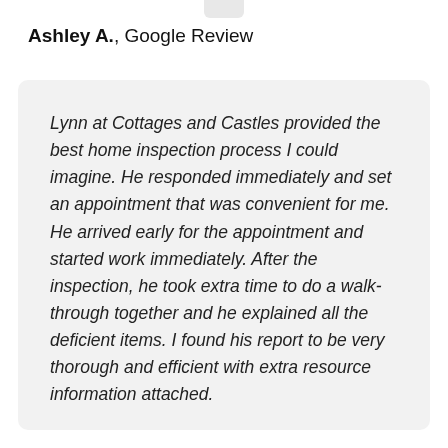Ashley A., Google Review
Lynn at Cottages and Castles provided the best home inspection process I could imagine. He responded immediately and set an appointment that was convenient for me. He arrived early for the appointment and started work immediately. After the inspection, he took extra time to do a walk-through together and he explained all the deficient items. I found his report to be very thorough and efficient with extra resource information attached.